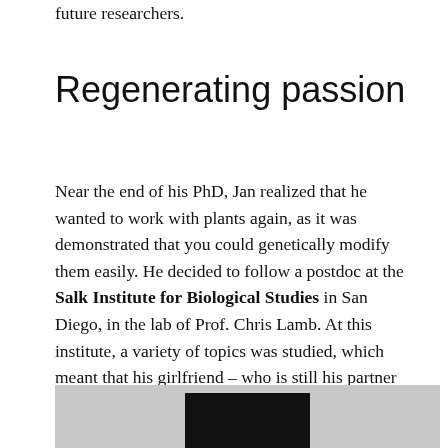future researchers.
Regenerating passion
Near the end of his PhD, Jan realized that he wanted to work with plants again, as it was demonstrated that you could genetically modify them easily. He decided to follow a postdoc at the Salk Institute for Biological Studies in San Diego, in the lab of Prof. Chris Lamb. At this institute, a variety of topics was studied, which meant that his girlfriend – who is still his partner today – could easily find a lab to work there too.
[Figure (photo): Photograph partially visible at bottom of page, showing a framed black display or screen against a grey background.]